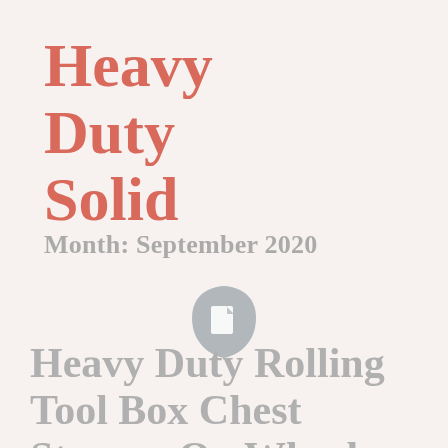Heavy Duty Solid
Month: September 2020
[Figure (illustration): Document/page icon — a rounded square shield shape in grey with a small document icon inside]
Heavy Duty Rolling Tool Box Chest Storage On Wheels With Expanding Lid Storage